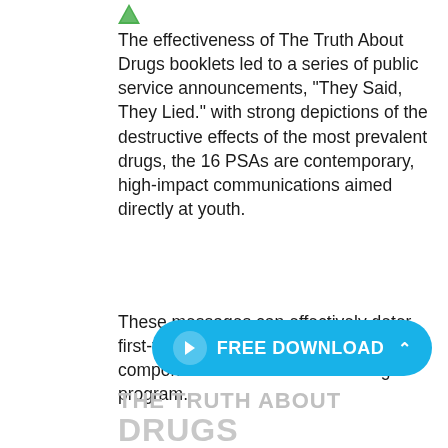[Figure (logo): Small green leaf/plant logo icon]
The effectiveness of The Truth About Drugs booklets led to a series of public service announcements, “They Said, They Lied.” with strong depictions of the destructive effects of the most prevalent drugs, the 16 PSAs are contemporary, high-impact communications aimed directly at youth.
These messages can effectively deter first-time drug use and form a vital component of the Truth About Drugs program.
[Figure (screenshot): Cyan/blue rounded pill button with cursor icon and text FREE DOWNLOAD with up caret]
[Figure (logo): THE TRUTH ABOUT DRUGS large grey logo text at the bottom]